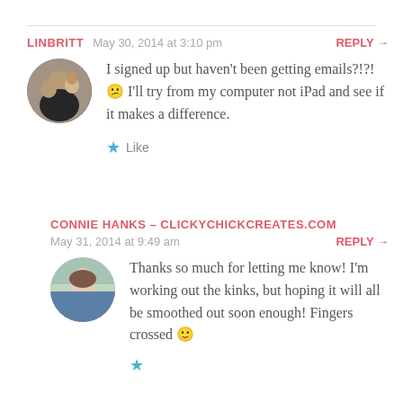LINBRITT   May 30, 2014 at 3:10 pm   REPLY →
[Figure (photo): Circular avatar photo showing a family group with adults and a child]
I signed up but haven't been getting emails?!?! 😕 I'll try from my computer not iPad and see if it makes a difference.
★ Like
CONNIE HANKS – CLICKYCHICKCREATES.COM
May 31, 2014 at 9:49 am   REPLY →
[Figure (photo): Circular avatar photo of a woman smiling outdoors]
Thanks so much for letting me know! I'm working out the kinks, but hoping it will all be smoothed out soon enough! Fingers crossed 🙂
★ Like